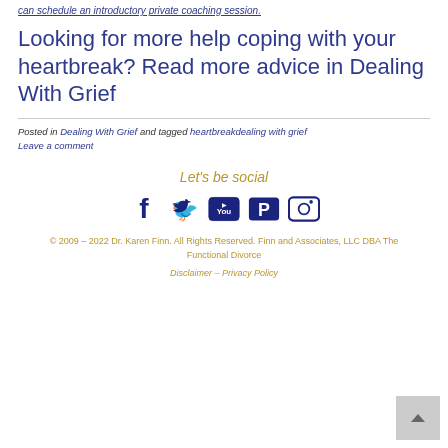can schedule an introductory private coaching session.
Looking for more help coping with your heartbreak? Read more advice in Dealing With Grief
Posted in Dealing With Grief and tagged heartbreakdealing with grief Leave a comment
Let's be social
[Figure (other): Social media icons: Facebook, Twitter, YouTube, Pinterest, Instagram]
© 2009 - 2022 Dr. Karen Finn. All Rights Reserved. Finn and Associates, LLC DBA The Functional Divorce
Disclaimer - Privacy Policy